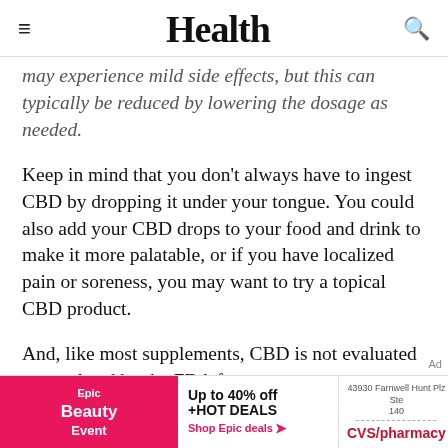Health
...however, some people may experience mild side effects, but this can typically be reduced by lowering the dosage as needed.
Keep in mind that you don't always have to ingest CBD by dropping it under your tongue. You could also add your CBD drops to your food and drink to make it more palatable, or if you have localized pain or soreness, you may want to try a topical CBD product.
And, like most supplements, CBD is not evaluated or regulated by the FDA for
[Figure (other): Advertisement banner: Epic Beauty Event (pink background) with 'Up to 40% off +HOT DEALS Shop Epic deals' and CVS/pharmacy ad with address '43930 Farnwell Hunt Plz Ste 140']